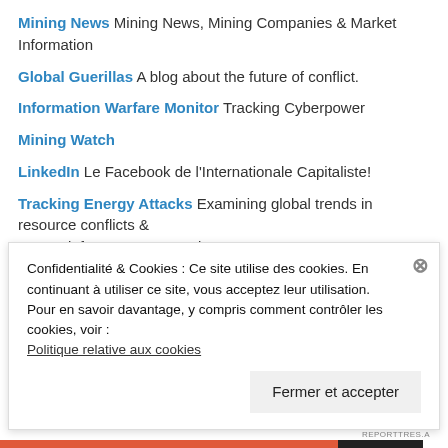Mining News Mining News, Mining Companies & Market Information
Global Guerillas A blog about the future of conflict.
Information Warfare Monitor Tracking Cyberpower
Mining Watch
LinkedIn Le Facebook de l'Internationale Capitaliste!
Tracking Energy Attacks Examining global trends in resource conflicts & energy infrastructure targeting
De la répression démocratique
Open Door Books Books to prisoners – Montreal
Toronto ABC
Confidentialité & Cookies : Ce site utilise des cookies. En continuant à utiliser ce site, vous acceptez leur utilisation.
Pour en savoir davantage, y compris comment contrôler les cookies, voir :
Politique relative aux cookies
Fermer et accepter
REPORTTRES.A